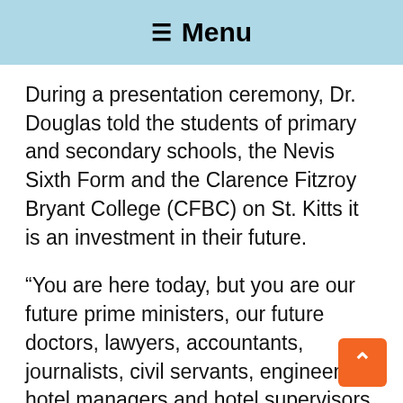≡ Menu
During a presentation ceremony, Dr. Douglas told the students of primary and secondary schools, the Nevis Sixth Form and the Clarence Fitzroy Bryant College (CFBC) on St. Kitts it is an investment in their future.
“You are here today, but you are our future prime ministers, our future doctors, lawyers, accountants, journalists, civil servants, engineers, hotel managers and hotel supervisors, businessmen and women,